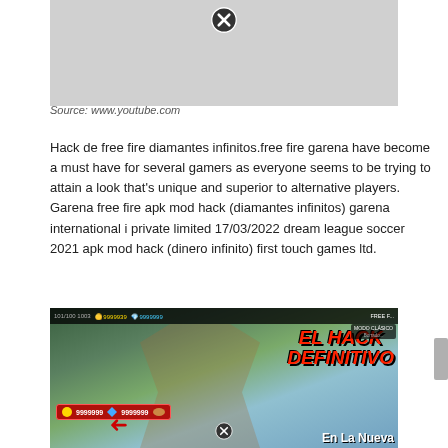[Figure (screenshot): Gray placeholder image with a close/X button at the top center, partially visible at top of page]
Source: www.youtube.com
Hack de free fire diamantes infinitos.free fire garena have become a must have for several gamers as everyone seems to be trying to attain a look that's unique and superior to alternative players. Garena free fire apk mod hack (diamantes infinitos) garena international i private limited 17/03/2022 dream league soccer 2021 apk mod hack (dinero infinito) first touch games ltd.
[Figure (screenshot): Screenshot of Free Fire game showing hack with 9999999 coins and gems, character in jungle setting, text 'EL HACK DEFINITIVO En La Nueva' in red and white]